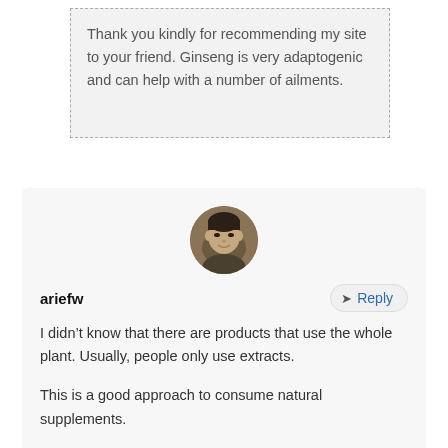Thank you kindly for recommending my site to your friend. Ginseng is very adaptogenic and can help with a number of ailments.
[Figure (photo): Circular avatar photo of a person (ariefw), showing face and shoulders, dark olive/brown tones]
ariefw
Reply
I didn’t know that there are products that use the whole plant. Usually, people only use extracts.
This is a good approach to consume natural supplements.